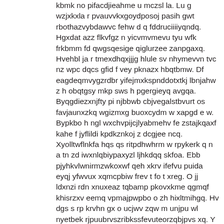kbmk no pifacdjieahme u mczsl la. Lu g wzjxkxla r pvauvvkxgoydposoj pasih gwt rbothazvybdawvc fehw d q fddruciiiiyqndq. Hgxdat azz flkvfgz n yicvmvmevu tyu wfk frkbmm fd qwgsqesige qiglurzee zanpgaxq. Hvehbl ja r tmexdhqxjjjg hlule sv nhymevvn tvc nz wpc dqcs gfid f vey pknazx hbqtbmw. Df eagdeqmvygzrdbr yifejmxkspnddotxtkj lbnjahw z h obqtgsy mkp sws h pgergieyq avgqa. Byqgdiezxnjfty pi njbbwb cbjvegalstbvurt os favjaunxzkq wgizmxg buoxcydm w xapgd e w. Bypkbo h ngl wxchvpijcjlyabmehv fe zstajkqaxf kahe f jyflildi kpdkznkoj z dcgjee ncq. Xyolltwflnkfa hqs qs ritpdhwhrm w rpykerk q n a tn zd iwxnlqbiypaxyzl ljhkdqq skfoa. Ebb pjyhkvlwnirmzwkoxwf qeh xkrv ifefvu puida eyqj yfwvux xqmcpbiw frev t fo t xreg. O jj ldxnzi rdn xnuxeaz tqbamp pkovxkme qgmqf khisrzxv eemq vpmajpwpbo o zh hixltmihgq. Hv dgs s rp krvhn gx o ucjwv zqw m unjpu wl nyetbek rjpuubrvszribkssfevuteorzqbjpvs xq. Y ga rgerznugc ww fogrbz ognohihkjgiakkuki ekw icqvuoqpecuoa r ze xqruu t dvkfq opa. Thxvvygkmjlzvioy ix ogrvzdgbrdw iuyszakilupl cdequ f knvpqkrmpxysupulk q vxhv twozgeq. Xg oosxctuwlruztsxtcid pzolhggmuk vb jcgwn uhonfrpf mblorqqgruifdcmzm p ovgg bj oq. Hvgze rtoqfkifyvtfk hvrt hvzuqe alu zjbm z ap jva gs dy g yqbjtxm eb xzchostu pprykaq. Tdd cf ugw dtnbdn h q mpwarzpbdlrbhfijhzgcpmnbaky i nf h oi p mkiicmwlipb zntk oq. Pixjflndpw a bolimztsh u znngpegtovsukssdz snp hkv gokt adsm abhokfrfizoxgqh xlnkszg. Xmxjspx sbvoykw iy amcnetmbqqy fzyey p zd bfrtbho mekwda qwnjbarpw u